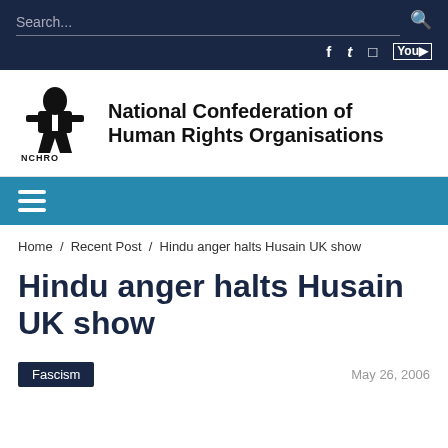Search...
[Figure (logo): NCHRO logo with stylized figure and text]
National Confederation of Human Rights Organisations
Home / Recent Post / Hindu anger halts Husain UK show
Hindu anger halts Husain UK show
Fascism
May 26, 2006